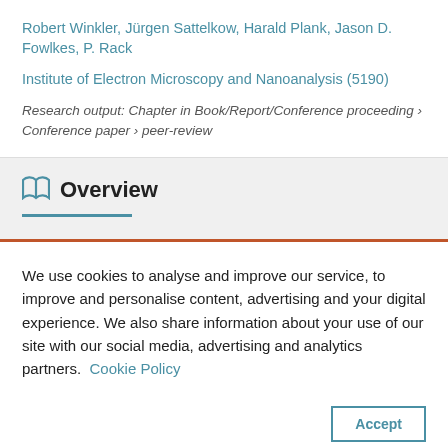Robert Winkler, Jürgen Sattelkow, Harald Plank, Jason D. Fowlkes, P. Rack
Institute of Electron Microscopy and Nanoanalysis (5190)
Research output: Chapter in Book/Report/Conference proceeding › Conference paper › peer-review
Overview
We use cookies to analyse and improve our service, to improve and personalise content, advertising and your digital experience. We also share information about your use of our site with our social media, advertising and analytics partners.  Cookie Policy